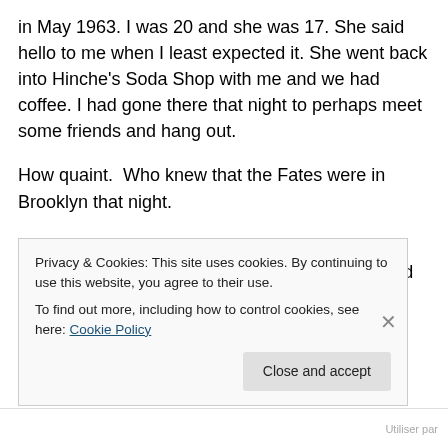in May 1963. I was 20 and she was 17. She said hello to me when I least expected it. She went back into Hinche's Soda Shop with me and we had coffee. I had gone there that night to perhaps meet some friends and hang out.
How quaint.  Who knew that the Fates were in Brooklyn that night.
Over coffee while discussing her upcoming graduation and future plans I discovered  she had no prom date. Her boyfriend, Lou, also known as the “bread crumb king” (his family owned a bakery) had broken up with her. “Want to
Privacy & Cookies: This site uses cookies. By continuing to use this website, you agree to their use.
To find out more, including how to control cookies, see here: Cookie Policy